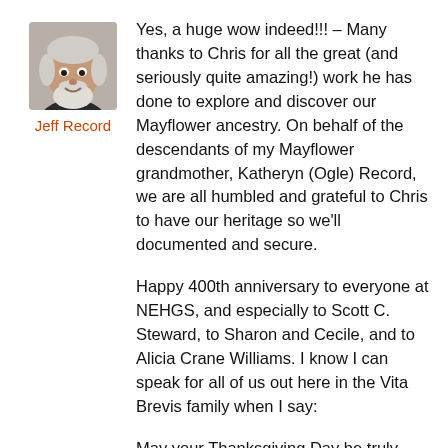[Figure (photo): Profile photo of a smiling older man with white beard and hair, wearing a dark shirt.]
Jeff Record
Yes, a huge wow indeed!!! – Many thanks to Chris for all the great (and seriously quite amazing!) work he has done to explore and discover our Mayflower ancestry. On behalf of the descendants of my Mayflower grandmother, Katheryn (Ogle) Record, we are all humbled and grateful to Chris to have our heritage so we'll documented and secure.

Happy 400th anniversary to everyone at NEHGS, and especially to Scott C. Steward, to Sharon and Cecile, and to Alicia Crane Williams. I know I can speak for all of us out here in the Vita Brevis family when I say:

May your Thanksgiving Day be truly blessed! We are grateful for you all!